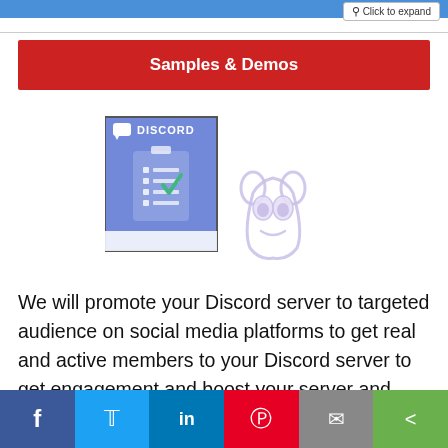[Figure (screenshot): Top blue navigation bar with Click to expand button on the right]
Samples & Demos
[Figure (logo): Discord logo image showing a Discord server checklist graphic alongside the Discord mascot logo (ghost-like figure outlined in purple)]
We will promote your Discord server to targeted audience on social media platforms to get real and active members to your Discord server to get engagement and boost your server and community with
[Figure (infographic): Social media share bar at bottom: Facebook (blue), Twitter (light blue), LinkedIn (dark blue), Pinterest (red), Email (grey), Share (green)]